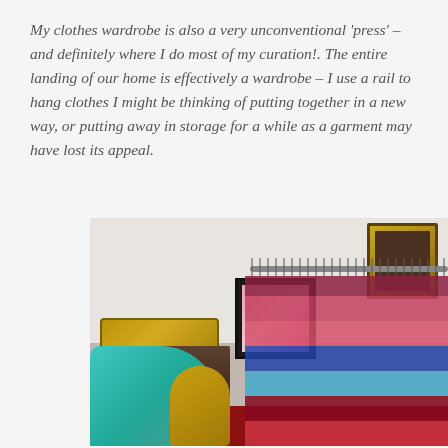My clothes wardrobe is also a very unconventional 'press' – and definitely where I do most of my curation!. The entire landing of our home is effectively a wardrobe – I use a rail to hang clothes I might be thinking of putting together in a new way, or putting away in storage for a while as a garment may have lost its appeal.
[Figure (photo): A home wardrobe on a landing: a clothing rail densely filled with colourful garments (pinks, reds, blues, black) on hangers; an ornate gold-framed painting top right; a black-framed art print centre; a vintage patterned suitcase/trunk on a shelf; dark storage crates below; a teal/turquoise fabric draped over a gilded chair in the foreground left; red carpet floor.]